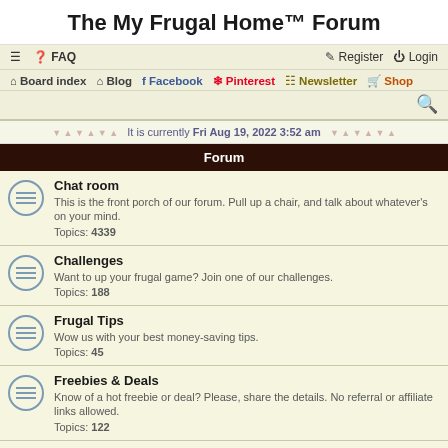The My Frugal Home™ Forum
≡  FAQ    Register   Login
Board index  Blog  Facebook  Pinterest  Newsletter  Shop
It is currently Fri Aug 19, 2022 3:52 am
Forum
Chat room
This is the front porch of our forum. Pull up a chair, and talk about whatever's on your mind.
Topics: 4339
Challenges
Want to up your frugal game? Join one of our challenges.
Topics: 188
Frugal Tips
Wow us with your best money-saving tips.
Topics: 45
Freebies & Deals
Know of a hot freebie or deal? Please, share the details. No referral or affiliate links allowed.
Topics: 122
Recipes
Crockpot recipes, canning recipes, quick meals, creative use-it-ups -- swap...